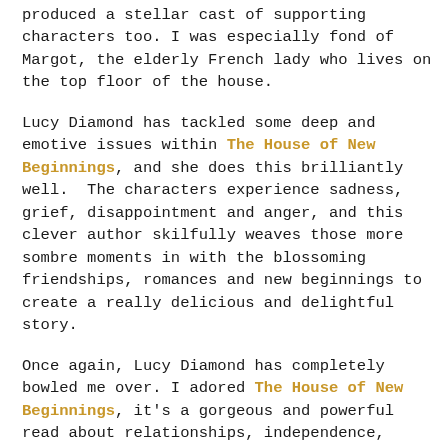produced a stellar cast of supporting characters too. I was especially fond of Margot, the elderly French lady who lives on the top floor of the house.
Lucy Diamond has tackled some deep and emotive issues within The House of New Beginnings, and she does this brilliantly well. The characters experience sadness, grief, disappointment and anger, and this clever author skilfully weaves those more sombre moments in with the blossoming friendships, romances and new beginnings to create a really delicious and delightful story.
Once again, Lucy Diamond has completely bowled me over. I adored The House of New Beginnings, it's a gorgeous and powerful read about relationships, independence, trust and dreams that can come true.
My thanks to the publisher who sent my copy for